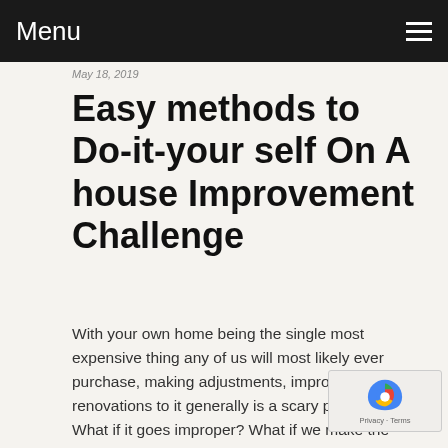Menu
May 18, 2019
Easy methods to Do-it-your self On A house Improvement Challenge
With your own home being the single most expensive thing any of us will most likely ever purchase, making adjustments, improvements or renovations to it generally is a scary proposal. What if it goes improper? What if we make the mistaken selections? Find out how to Appropriately Trim Your Timber To keep Them Healthy will provide help to wade by way of the rights and wrongs with some nice tips and concepts for your